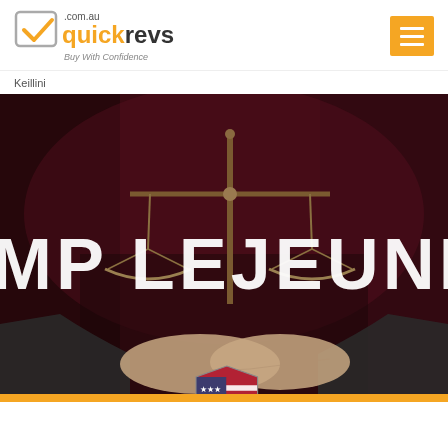[Figure (logo): Quickrevs.com.au logo with orange checkmark and 'Buy With Confidence' tagline, plus orange hamburger menu icon]
Keillini
[Figure (photo): Dark red/maroon background image showing hands holding a brass scales of justice. Bold white text reads 'MP LEJEUNE'. A US flag shield icon appears at the bottom center.]